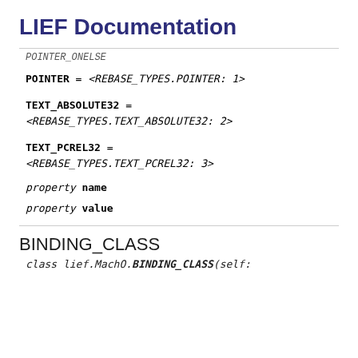LIEF Documentation
POINTER = <REBASE_TYPES.POINTER: 1>
TEXT_ABSOLUTE32 = <REBASE_TYPES.TEXT_ABSOLUTE32: 2>
TEXT_PCREL32 = <REBASE_TYPES.TEXT_PCREL32: 3>
property name
property value
BINDING_CLASS
class lief.MachO.BINDING_CLASS(self: